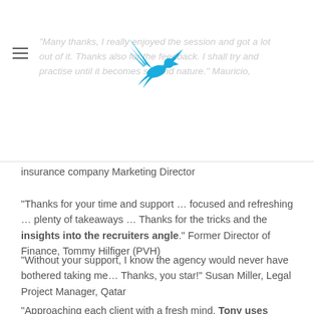[Figure (logo): Blue eagle/hawk logo centered at top of page]
“Many thanks, I really enjoyed the session and got a lot out of it. Thanks also for the feedback. I shall try and practise until it becomes second nature.” Mauricio, insurance company Marketing Director
“Thanks for your time and support … focused and refreshing … plenty of takeaways … Thanks for the tricks and the insights into the recruiters angle.” Former Director of Finance, Tommy Hilfiger (PVH)
“Without your support, I know the agency would never have bothered taking me… Thanks, you star!”  Susan Miller, Legal Project Manager, Qatar
“Approaching each client with a fresh mind, Tony uses intuitive strategies to develop them, empowering them to make the necessary impact. I personally have learnt a